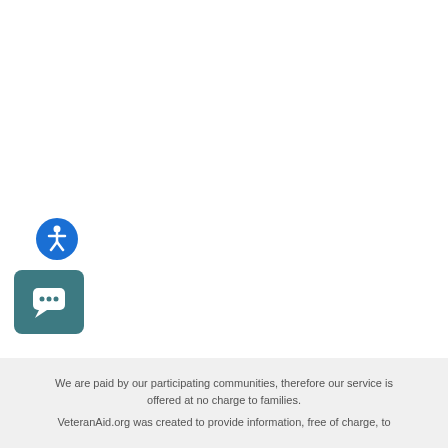[Figure (illustration): Blue circular accessibility icon with white person/wheelchair symbol]
[Figure (illustration): Teal/dark cyan rounded square chat bubble icon with white speech bubble symbol]
We are paid by our participating communities, therefore our service is offered at no charge to families.
VeteranAid.org was created to provide information, free of charge, to